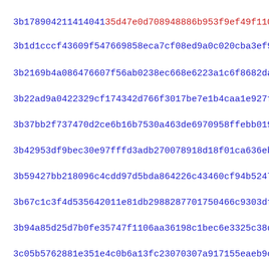3b178904211414041355d47e0d708948886b953f9ef49f110c7dd3ea45df02
3b1d1cccf43609f547669858eca7cf08ed9a0c020cba3ef94cc9298fd12fe
3b2169b4a086476607f56ab0238ec668e6223a1c6f8682dac024ed05d05bd
3b22ad9a0422329cf174342d766f3017be7e1b4caa1e927fe48772071772​6
3b37bb2f737470d2ce6b16b7530a463de6970958ffebb01933e1f4a45d860
3b42953df9bec30e97fffd3adb270078918d18f01ca636eb6e7e81abdb719
3b59427bb218096c4cdd97d5bda864226c43460cf94b52478e4670e2ef943
3b67c1c3f4d535642011e81db2988287701750466c9303df5254f7c807500
3b94a85d25d7b0fe35747f1106aa36198c1bec6e3325c38df8d16e6cf5dc3
3c05b5762881e351e4c0b6a13fc23070307a917155eaeb9c87e33349b6983